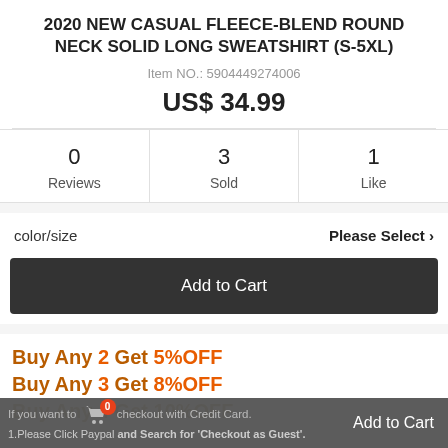2020 NEW CASUAL FLEECE-BLEND ROUND NECK SOLID LONG SWEATSHIRT (S-5XL)
Item NO.: 5904449274006
US$ 34.99
| Reviews | Sold | Like |
| --- | --- | --- |
| 0 | 3 | 1 |
color/size
Please Select >
Add to Cart
Buy Any 2 Get 5%OFF
Buy Any 3 Get 8%OFF
Buy Any 4 Get 10%OFF
If you want to checkout with Credit Card.
Add to Cart
1.Please Click Paypal and Search for 'Checkout as Guest'.